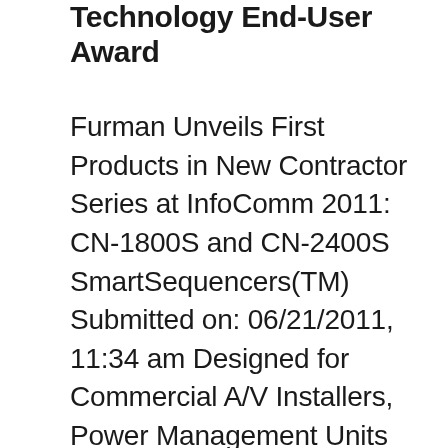Technology End-User Award
Furman Unveils First Products in New Contractor Series at InfoComm 2011: CN-1800S and CN-2400S SmartSequencers(TM) Submitted on: 06/21/2011, 11:34 am Designed for Commercial A/V Installers, Power Management Units Combine Robust Control Capabilities via SmartSequencing(TM) Technology, Advanced AC Protection, AC Noise